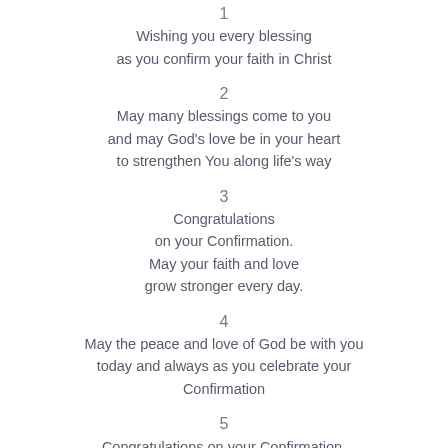1
Wishing you every blessing
as you confirm your faith in Christ
2
May many blessings come to you
and may God's love be in your heart
to strengthen You along life's way
3
Congratulations
on your Confirmation.
May your faith and love
grow stronger every day.
4
May the peace and love of God be with you
today and always as you celebrate your
Confirmation
5
Congratulations on your Confirmation.
May God bless you always.
6